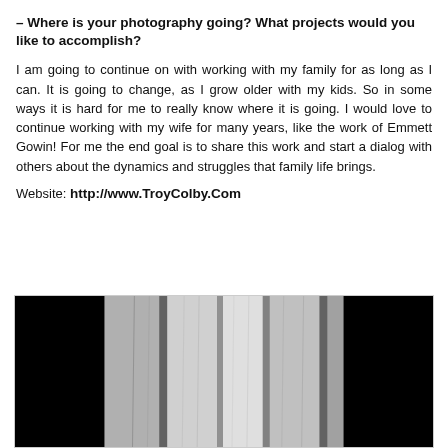– Where is your photography going? What projects would you like to accomplish?
I am going to continue on with working with my family for as long as I can. It is going to change, as I grow older with my kids. So in some ways it is hard for me to really know where it is going. I would love to continue working with my wife for many years, like the work of Emmett Gowin! For me the end goal is to share this work and start a dialog with others about the dynamics and struggles that family life brings.
Website: http://www.TroyColby.Com
[Figure (photo): Black and white photograph of sheer white curtains hanging in a dark room, with light filtering through the fabric]